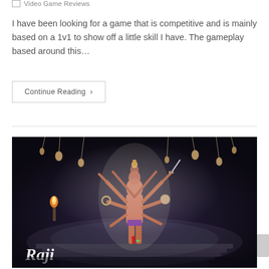Video Game Reviews
I have been looking for a game that is competitive and is mainly based on a 1v1 to show off a little skill I have. The gameplay based around this…
Continue Reading ›
[Figure (photo): Screenshot from the game Raji showing a multi-armed deity boss character standing on a temple stage with hanging bells, torchlight and mist, with a small player character at the bottom. The Raji logo is visible in the lower left corner.]